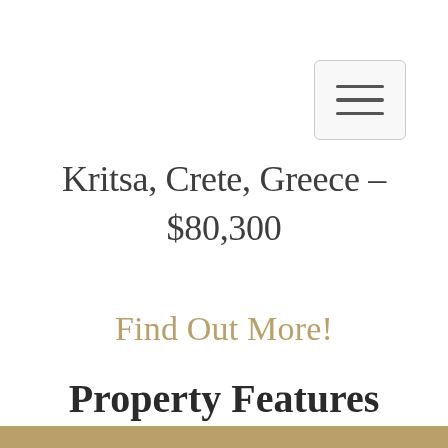[Figure (other): Hamburger menu button icon — three horizontal lines inside a rounded rectangle border]
Kritsa, Crete, Greece – $80,300
Find Out More!
Property Features
Bedrooms   Bathrooms
[Figure (other): Gold/tan decorative horizontal bar at bottom of page]